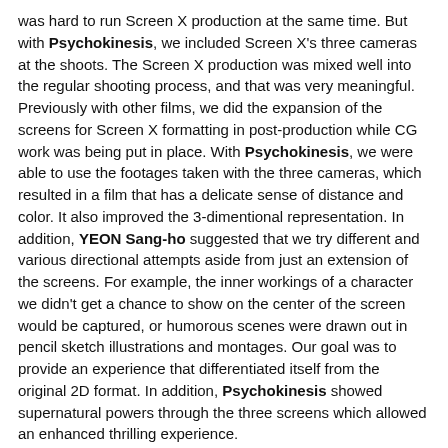was hard to run Screen X production at the same time. But with Psychokinesis, we included Screen X's three cameras at the shoots. The Screen X production was mixed well into the regular shooting process, and that was very meaningful. Previously with other films, we did the expansion of the screens for Screen X formatting in post-production while CG work was being put in place. With Psychokinesis, we were able to use the footages taken with the three cameras, which resulted in a film that has a delicate sense of distance and color. It also improved the 3-dimentional representation. In addition, YEON Sang-ho suggested that we try different and various directional attempts aside from just an extension of the screens. For example, the inner workings of a character we didn't get a chance to show on the center of the screen would be captured, or humorous scenes were drawn out in pencil sketch illustrations and montages. Our goal was to provide an experience that differentiated itself from the original 2D format. In addition, Psychokinesis showed supernatural powers through the three screens which allowed an enhanced thrilling experience.
What do you think is the biggest strength of Screen X?
If theaters originally screened with just one screen, Screen X uses the front screen as well as the two sides. It has a 270-degree expanded screen. You will feel like you are inside the movie, which makes you focus even more. That's why action, SF, and fantasy films that have a lot of movement and